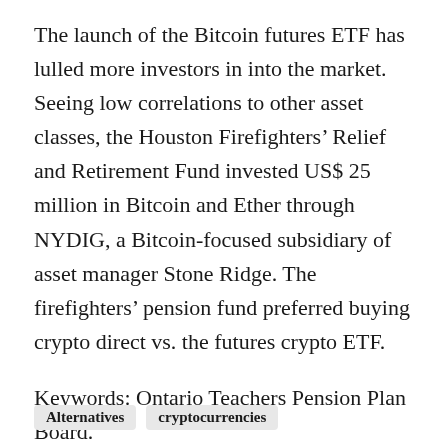The launch of the Bitcoin futures ETF has lulled more investors in into the market. Seeing low correlations to other asset classes, the Houston Firefighters' Relief and Retirement Fund invested US$ 25 million in Bitcoin and Ether through NYDIG, a Bitcoin-focused subsidiary of asset manager Stone Ridge. The firefighters' pension fund preferred buying crypto direct vs. the futures crypto ETF.
Keywords: Ontario Teachers Pension Plan Board.
Alternatives
cryptocurrencies